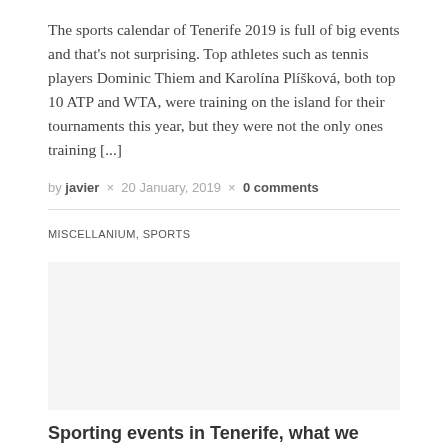The sports calendar of Tenerife 2019 is full of big events and that's not surprising. Top athletes such as tennis players Dominic Thiem and Karolína Plíšková, both top 10 ATP and WTA, were training on the island for their tournaments this year, but they were not the only ones training [...]
by javier × 20 January, 2019 × 0 comments
MISCELLANIUM, SPORTS
[Figure (photo): Placeholder image area for a sports/Tenerife related photo]
Sporting events in Tenerife, what we have